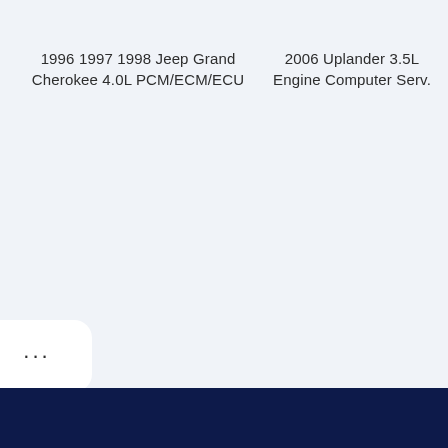1996 1997 1998 Jeep Grand Cherokee 4.0L PCM/ECM/ECU
2006 Uplander 3.5L Engine Computer Serv.
[Figure (other): Rounded rectangle button with three dots (ellipsis) indicating more options]
2002 GMC Envoy Engine Computer Serv.